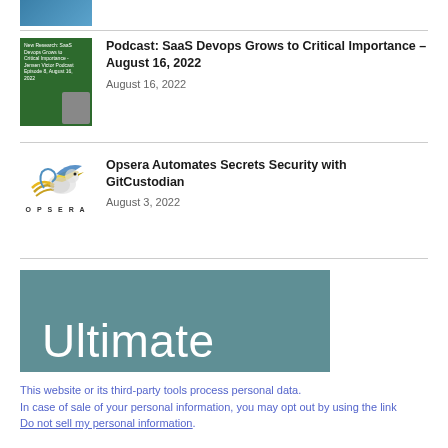[Figure (screenshot): Partial thumbnail of a article card at top, partially cut off, showing blue-colored image]
Podcast: SaaS Devops Grows to Critical Importance – August 16, 2022
August 16, 2022
Opsera Automates Secrets Security with GitCustodian
August 3, 2022
[Figure (illustration): Teal/steel blue banner showing the word 'Ultimate' in large white light-weight font]
This website or its third-party tools process personal data.
In case of sale of your personal information, you may opt out by using the link Do not sell my personal information.